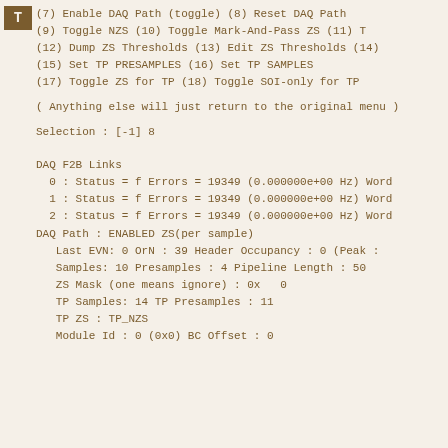(7) Enable DAQ Path (toggle)    (8) Reset DAQ Path
(9) Toggle NZS    (10) Toggle Mark-And-Pass ZS    (11) T
(12) Dump ZS Thresholds   (13) Edit ZS Thresholds   (14)
(15) Set TP PRESAMPLES  (16) Set TP SAMPLES
(17) Toggle ZS for TP (18) Toggle SOI-only for TP
(  Anything else will just return to the original menu )
Selection :  [-1] 8
DAQ F2B Links
0 : Status = f  Errors = 19349  (0.000000e+00 Hz)  Word
1 : Status = f  Errors = 19349  (0.000000e+00 Hz)  Word
2 : Status = f  Errors = 19349  (0.000000e+00 Hz)  Word
DAQ Path : ENABLED        ZS(per sample)
Last EVN: 0   OrN : 39  Header Occupancy : 0  (Peak :
Samples: 10   Presamples : 4  Pipeline Length : 50
ZS Mask (one means ignore) : 0x   0
TP Samples: 14    TP Presamples : 11
TP ZS : TP_NZS
Module Id : 0 (0x0)   BC Offset : 0